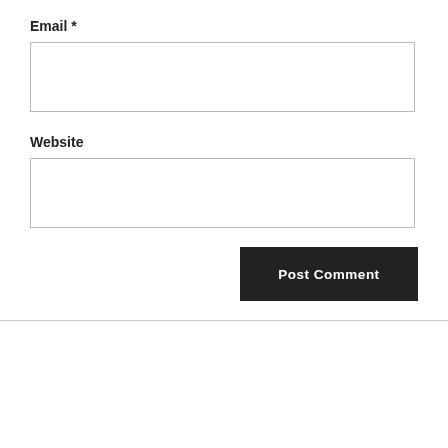Email *
[Figure (other): Email input text field]
Website
[Figure (other): Website input text field]
Post Comment
COPYRIGHT © 2019 J.HY